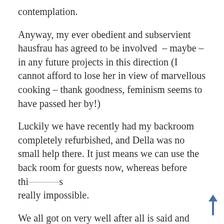contemplation.
Anyway, my ever obedient and subservient hausfrau has agreed to be involved  – maybe – in any future projects in this direction (I cannot afford to lose her in view of marvellous cooking – thank goodness, feminism seems to have passed her by!)
Luckily we have recently had my backroom completely refurbished, and Della was no small help there. It just means we can use the back room for guests now, whereas before this was really impossible.
We all got on very well after all is said and done; I mean, we all hold the same interests in